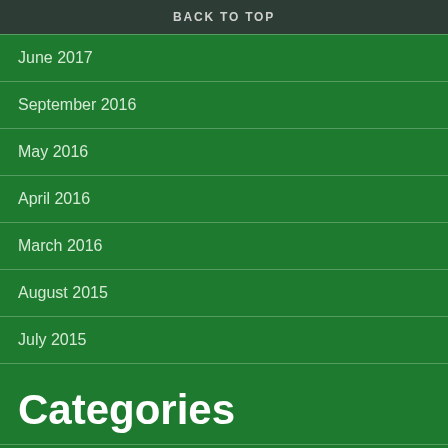BACK TO TOP
June 2017
September 2016
May 2016
April 2016
March 2016
August 2015
July 2015
Categories
AFC Wimbledon
Cricket
Football
Politics